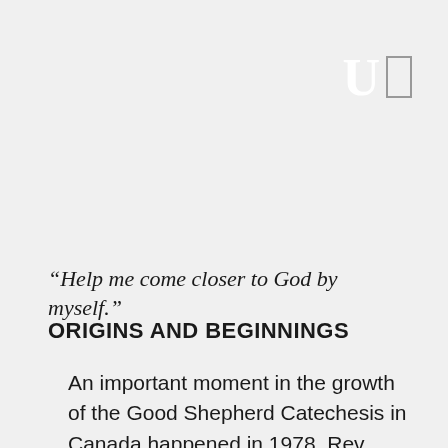“Help me come closer to God by myself.”
ORIGINS AND BEGINNINGS
An important moment in the growth of the Good Shepherd Catechesis in Canada happened in 1978, Rev. Elliott Allen, Dean